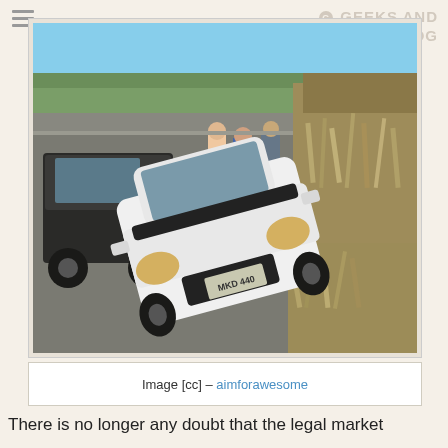[Figure (photo): A white Dodge Stratus car that has driven off the road into dry brush/vegetation on the roadside. Several bystanders stand in the background near the road. A dark-colored Jeep is parked to the left. The car's license plate reads MKD 440.]
Image [cc] – aimforawesome
There is no longer any doubt that the legal market